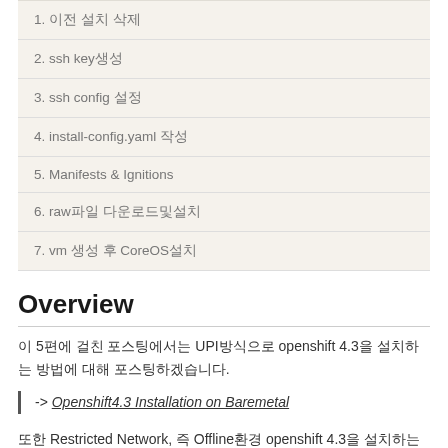| 1. 이전 설치 삭제 |
| 2. ssh key생성 |
| 3. ssh config 설정 |
| 4. install-config.yaml 작성 |
| 5. Manifests & Ignitions |
| 6. raw파일 다운로드및설치 |
| 7. vm 생성 후 CoreOS설치 |
Overview
이 5편에 걸친 포스팅에서는 UPI방식으로 openshift 4.3을 설치하는 방법에 대해 포스팅하겠습니다.
-> Openshift4.3 Installation on Baremetal
또한 Restricted Network, 즉 Offline환경 openshift 4.3을 설치하는 방법 또한 포스팅 합니다.